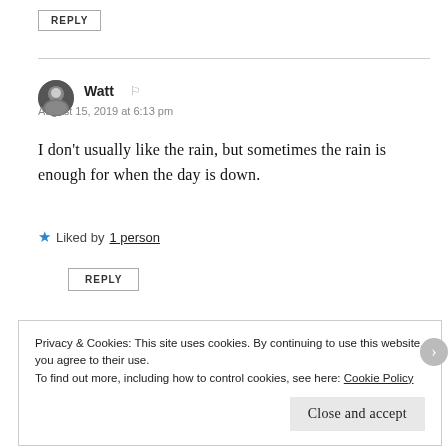REPLY
Watt
August 15, 2019 at 6:13 pm
I don't usually like the rain, but sometimes the rain is enough for when the day is down.
Liked by 1 person
REPLY
Privacy & Cookies: This site uses cookies. By continuing to use this website, you agree to their use. To find out more, including how to control cookies, see here: Cookie Policy
Close and accept